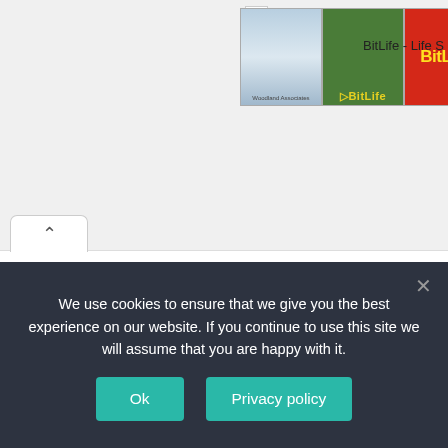[Figure (screenshot): Advertisement banner showing BitLife - Life S app ad with green snake and red sperm logo images]
Peju Johnson said in a 2018 interview with Vanguard News, "I came back to Nigeria in 2016 and met Kehinde Adeyemi in 2017. He is my boss and the person that put me through. Without him, the journey would have been very hard but with his help and tutelage things have been moving for me very well."
We use cookies to ensure that we give you the best experience on our website. If you continue to use this site we will assume that you are happy with it.